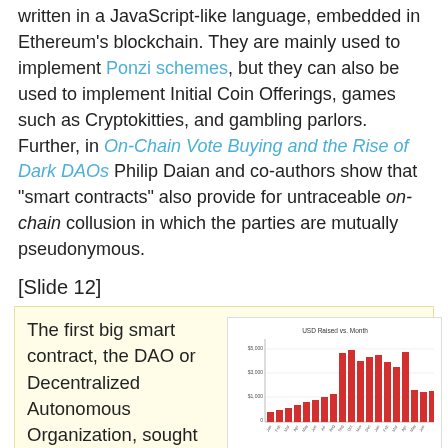written in a JavaScript-like language, embedded in Ethereum's blockchain. They are mainly used to implement Ponzi schemes, but they can also be used to implement Initial Coin Offerings, games such as Cryptokitties, and gambling parlors. Further, in On-Chain Vote Buying and the Rise of Dark DAOs Philip Daian and co-authors show that "smart contracts" also provide for untraceable on-chain collusion in which the parties are mutually pseudonymous.
[Slide 12]
The first big smart contract, the DAO or Decentralized Autonomous Organization, sought to create a democratic mutual fund where investors could invest their Ethereum and then vote on possible investments. Approximately 10% of all Ethereum ended up in the DAO before someone discovered a reentrancy bug that enabled the
[Figure (bar-chart): Bar chart showing USD Raised vs. Month with red bars of varying heights representing ICO returns over multiple months]
ICO Returns